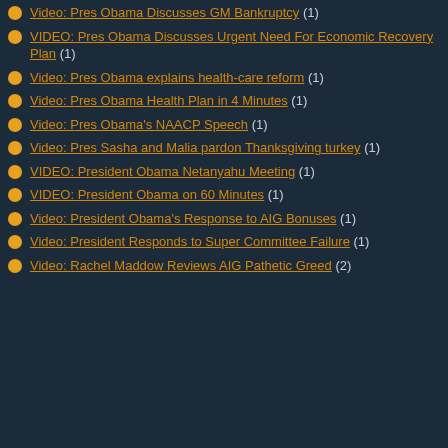Video: Pres Obama Discusses GM Bankruptcy (1)
VIDEO: Pres Obama Discusses Urgent Need For Economic Recovery Plan (1)
Video: Pres Obama explains health-care reform (1)
Video: Pres Obama Health Plan in 4 Minutes (1)
Video: Pres Obama's NAACP Speech (1)
Video: Pres Sasha and Malia pardon Thanksgiving turkey (1)
VIDEO: President Obama Netanyahu Meeting (1)
VIDEO: President Obama on 60 Minutes (1)
Video: President Obama's Response to AIG Bonuses (1)
Video: President Responds to Super Committee Failure (1)
Video: Rachel Maddow Reviews AIG Pathetic Greed (2)